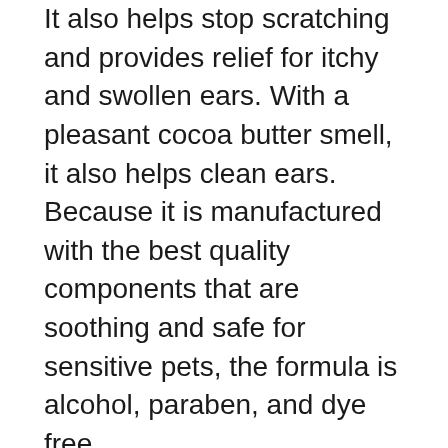It also helps stop scratching and provides relief for itchy and swollen ears. With a pleasant cocoa butter smell, it also helps clean ears. Because it is manufactured with the best quality components that are soothing and safe for sensitive pets, the formula is alcohol, paraben, and dye free.
User feedback:
All users agree that this product truly softened the hardened wax, allowing the pet owners to rinse the gunk out with a qtip. The perfume is light and airy, yet not overpowering. It has a coconut scent to it which isn't irritating at all